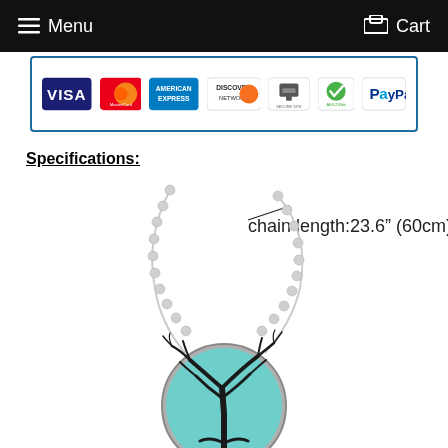Menu   Cart
[Figure (other): Payment method logos: VISA, MasterCard, American Express, Discover Network, Stripe Secure Site, AES-256bit, PayPal]
Specifications:
[Figure (photo): A necklace pendant with a teal/turquoise background showing a dark bare tree silhouette, hanging on a silver ball chain. Annotation reads: chain length:23.6" (60cm)]